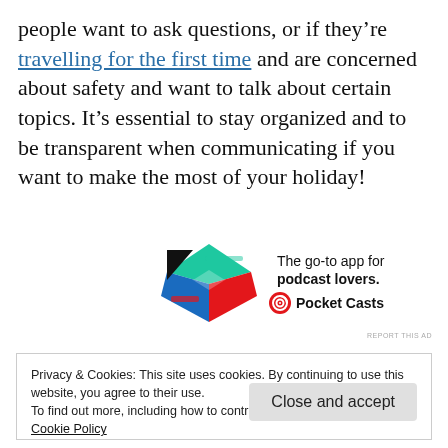people want to ask questions, or if they're travelling for the first time and are concerned about safety and want to talk about certain topics. It's essential to stay organized and to be transparent when communicating if you want to make the most of your holiday!
[Figure (logo): Pocket Casts app advertisement banner: colorful app icon with green, blue, red, and white quadrants, text 'The go-to app for podcast lovers.' and Pocket Casts logo]
REPORT THIS AD
Privacy & Cookies: This site uses cookies. By continuing to use this website, you agree to their use.
To find out more, including how to control cookies, see here:
Cookie Policy
Close and accept